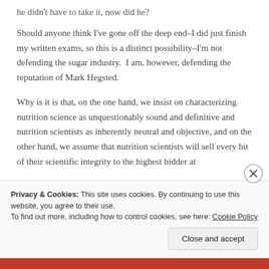he didn't have to take it, now did he?
Should anyone think I've gone off the deep end–I did just finish my written exams, so this is a distinct possibility–I'm not defending the sugar industry.  I am, however, defending the reputation of Mark Hegsted.
Why is it is that, on the one hand, we insist on characterizing nutrition science as unquestionably sound and definitive and nutrition scientists as inherently neutral and objective, and on the other hand, we assume that nutrition scientists will sell every bit of their scientific integrity to the highest bidder at
Privacy & Cookies: This site uses cookies. By continuing to use this website, you agree to their use.
To find out more, including how to control cookies, see here: Cookie Policy
Close and accept